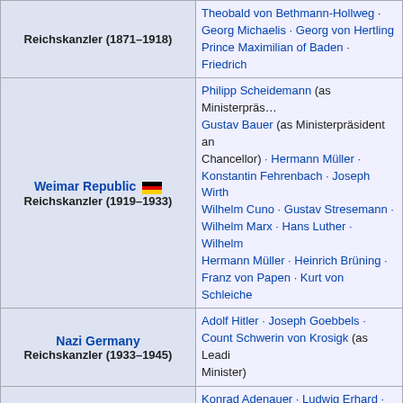| Role/Era | Chancellors |
| --- | --- |
| Reichskanzler (1871–1918) | Theobald von Bethmann-Hollweg · Georg Michaelis · Georg von Hertling · Prince Maximilian of Baden · Friedrich… |
| Weimar Republic 🇩🇪 Reichskanzler (1919–1933) | Philipp Scheidemann (as Ministerpräs… · Gustav Bauer (as Ministerpräsident and Chancellor) · Hermann Müller · Konstantin Fehrenbach · Joseph Wirth · Wilhelm Cuno · Gustav Stresemann · Wilhelm Marx · Hans Luther · Wilhelm… · Hermann Müller · Heinrich Brüning · Franz von Papen · Kurt von Schleiche… |
| Nazi Germany Reichskanzler (1933–1945) | Adolf Hitler · Joseph Goebbels · Count Schwerin von Krosigk (as Leading Minister) |
| Federal Republic 🇩🇪 Bundeskanzler (1949–present) | Konrad Adenauer · Ludwig Erhard · Kurt Georg Kiesinger · Willy Brandt · Helmut Schmidt · Helmut Kohl · Gerhard Schröder · Angela Merkel |
| List of Chancellors of Germany |  |
| Economy Ministers of Germany |  |
| Imperial Economy Secretaries (1871–1918) | Rudolf Schwander · Hans Karl Freiherr von Stein zu Nord- und Ostheim · August Müller… |